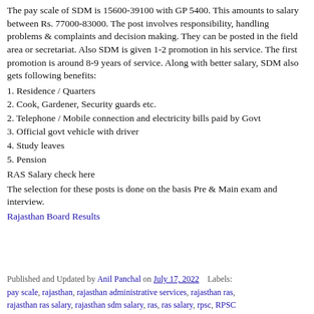The pay scale of SDM is 15600-39100 with GP 5400. This amounts to salary between Rs. 77000-83000. The post involves responsibility, handling problems & complaints and decision making. They can be posted in the field area or secretariat. Also SDM is given 1-2 promotion in his service. The first promotion is around 8-9 years of service. Along with better salary, SDM also gets following benefits:
1. Residence / Quarters
2. Cook, Gardener, Security guards etc.
2. Telephone / Mobile connection and electricity bills paid by Govt
3. Official govt vehicle with driver
4. Study leaves
5. Pension
RAS Salary check here
The selection for these posts is done on the basis Pre & Main exam and interview.
Rajasthan Board Results
Published and Updated by Anil Panchal on July 17, 2022   Labels: pay scale, rajasthan, rajasthan administrative services, rajasthan ras, rajasthan ras salary, rajasthan sdm salary, ras, ras salary, rpsc, RPSC